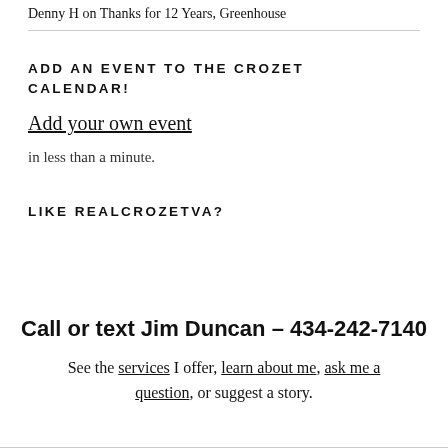Denny H on Thanks for 12 Years, Greenhouse
ADD AN EVENT TO THE CROZET CALENDAR!
Add your own event
in less than a minute.
LIKE REALCROZETVA?
Call or text Jim Duncan – 434-242-7140
See the services I offer, learn about me, ask me a question, or suggest a story.